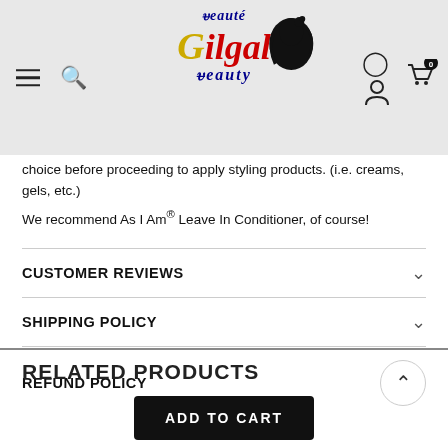[Figure (logo): Beauté Gilgal Beauty logo with stylized text in red, gold, and dark blue, with a black hair silhouette icon]
choice before proceeding to apply styling products. (i.e. creams, gels, etc.) We recommend As I Am® Leave In Conditioner, of course!
CUSTOMER REVIEWS
SHIPPING POLICY
REFUND POLICY
RELATED PRODUCTS